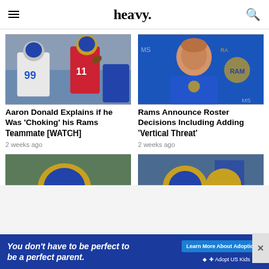heavy.
[Figure (photo): Two NFL players, one in Rams white jersey #99, one in red jersey, in action during practice or game]
Aaron Donald Explains if he Was 'Choking' his Rams Teammate [WATCH]
2 weeks ago
[Figure (photo): Man in blue Rams shirt standing in front of Rams branded backdrop, looking upward]
Rams Announce Roster Decisions Including Adding 'Vertical Threat'
2 weeks ago
[Figure (photo): Partial view of Rams football helmets, bottom of page]
[Figure (photo): Partial view of Rams football helmets and players, bottom of page]
You don't have to be perfect to be a perfect parent.
Learn More About Adoption
AdoptUSKids